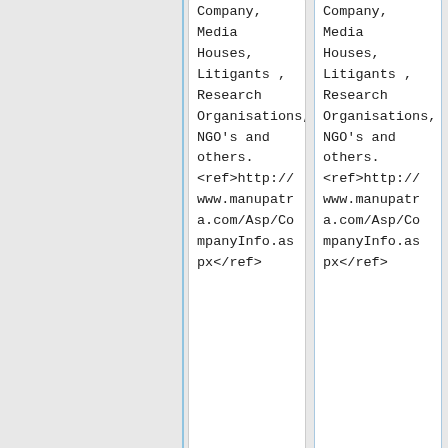Company, Media Houses, Litigants , Research Organisations, NGO's and others. <ref>http://www.manupatara.com/Asp/CompanyInfo.aspx</ref>
Company, Media Houses, Litigants , Research Organisations, NGO's and others. <ref>http://www.manupatara.com/Asp/CompanyInfo.aspx</ref>
Covering small daily occurrences can establish excellent essays. What
==Manupatra All India Essay Competition==